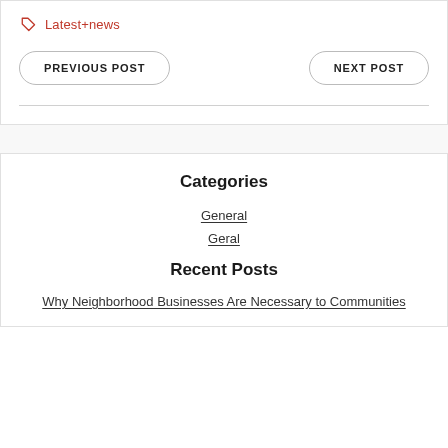Latest+news
PREVIOUS POST
NEXT POST
Categories
General
Geral
Recent Posts
Why Neighborhood Businesses Are Necessary to Communities